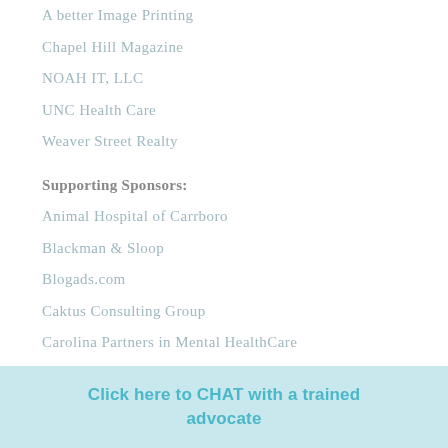A better Image Printing
Chapel Hill Magazine
NOAH IT, LLC
UNC Health Care
Weaver Street Realty
Supporting Sponsors:
Animal Hospital of Carrboro
Blackman & Sloop
Blogads.com
Caktus Consulting Group
Carolina Partners in Mental HealthCare
Click here to CHAT with a trained advocate